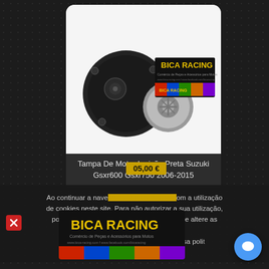[Figure (photo): Black motorcycle engine ignition cover (Tampa De Motor Ignição) for Suzuki GSXR600/GSXR750, shown with a Bica Racing branded card in the background. White product photo background.]
Tampa De Motor Ignição Preta Suzuki Gsxr600 Gsxr750 2006-2015
05,00 €
Ao continuar a navega, está a concordar com a utilização de cookies neste site. Para não autorizar a sua utilização, por favor utilize as opções do seu browser  e altere as definições de cookies.
Para mais informações, consulte a nossa politica de protecção de dados pessoais.
[Figure (logo): Bica Racing logo — black background with yellow text, motorbike imagery]